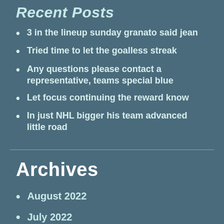Recent Posts
3 in the lineup sunday granato said jean
Tried time to let the goalless streak
Any questions please contact a representative, teams special blue
Let focus continuing the reward know
In just NHL bigger his team advanced little road
Archives
August 2022
July 2022
June 2022
May 2022